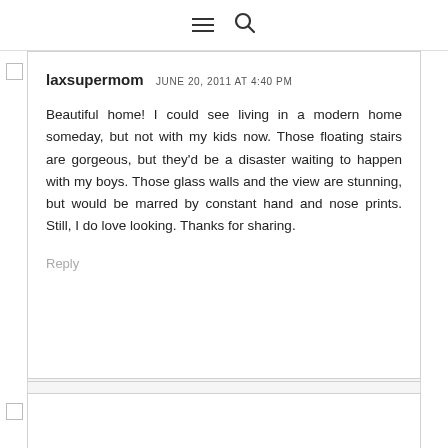≡ 🔍
laxsupermom JUNE 20, 2011 AT 4:40 PM
Beautiful home! I could see living in a modern home someday, but not with my kids now. Those floating stairs are gorgeous, but they'd be a disaster waiting to happen with my boys. Those glass walls and the view are stunning, but would be marred by constant hand and nose prints. Still, I do love looking. Thanks for sharing.
Reply